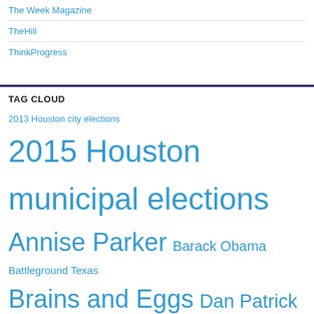The Week Magazine
TheHill
ThinkProgress
TAG CLOUD
2013 Houston city elections 2015 Houston municipal elections Annise Parker Barack Obama Battleground Texas Brains and Eggs Dan Patrick Donald Trump Early Voting Texas GOP Greg Abbott HERO Hillary Clinton Hounews Houston Houston Chronicle Houston City Council Houston Early Voting Houston Equal Rights Ordinance Houston municipal election Houston Non- Discrimination Ordinance Houston Politics